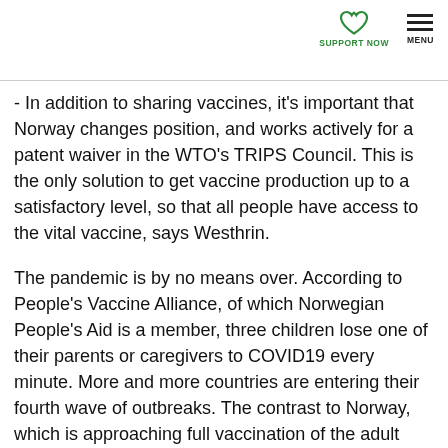SUPPORT NOW   MENU
- In addition to sharing vaccines, it's important that Norway changes position, and works actively for a patent waiver in the WTO's TRIPS Council. This is the only solution to get vaccine production up to a satisfactory level, so that all people have access to the vital vaccine, says Westhrin.
The pandemic is by no means over. According to People's Vaccine Alliance, of which Norwegian People's Aid is a member, three children lose one of their parents or caregivers to COVID19 every minute. More and more countries are entering their fourth wave of outbreaks. The contrast to Norway, which is approaching full vaccination of the adult population, is striking.
- We can begin to glimpse the light at the end of the tunnel here at home. Now it is important that we show solidarity